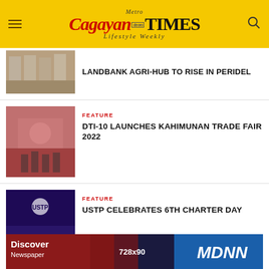Metro Cagayan de Oro Times Lifestyle Weekly
LANDBANK AGRI-HUB TO RISE IN PERIDEL
FEATURE
DTI-10 LAUNCHES KAHIMUNAN TRADE FAIR 2022
FEATURE
USTP CELEBRATES 6TH CHARTER DAY
[Figure (screenshot): Ad banner: Discover Newspaper 728x90 MDNN]